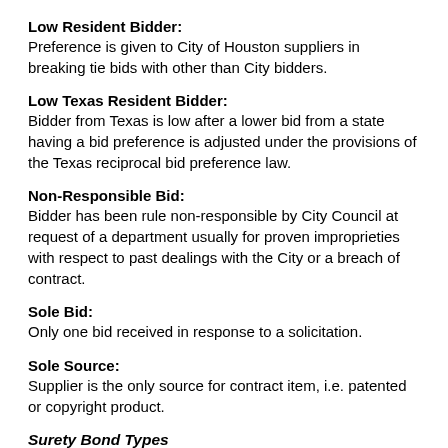Low Resident Bidder:
Preference is given to City of Houston suppliers in breaking tie bids with other than City bidders.
Low Texas Resident Bidder:
Bidder from Texas is low after a lower bid from a state having a bid preference is adjusted under the provisions of the Texas reciprocal bid preference law.
Non-Responsible Bid:
Bidder has been rule non-responsible by City Council at request of a department usually for proven improprieties with respect to past dealings with the City or a breach of contract.
Sole Bid:
Only one bid received in response to a solicitation.
Sole Source:
Supplier is the only source for contract item, i.e. patented or copyright product.
Surety Bond Types
Bid Bond:
Guarantees a bidder will enter into a contract are recommended for award.